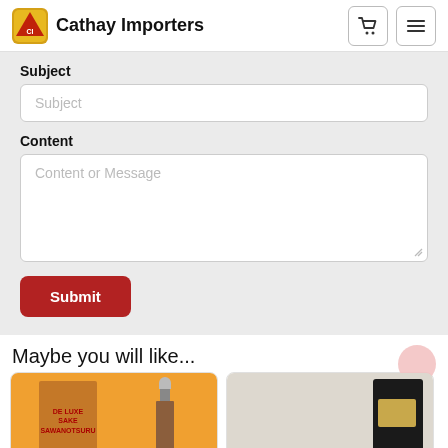Cathay Importers
Subject
Subject
Content
Content or Message
Submit
Maybe you will like...
[Figure (photo): Product card showing Sawanotsuru Deluxe Sake bottle and box]
[Figure (photo): Product card showing a dark bottle with gold label]